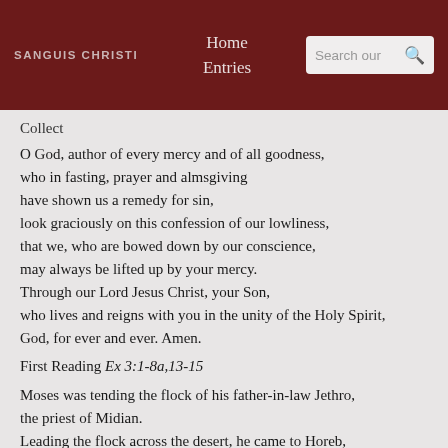SANGUIS CHRISTI  Home  Entries  Search our
Collect
O God, author of every mercy and of all goodness,
who in fasting, prayer and almsgiving
have shown us a remedy for sin,
look graciously on this confession of our lowliness,
that we, who are bowed down by our conscience,
may always be lifted up by your mercy.
Through our Lord Jesus Christ, your Son,
who lives and reigns with you in the unity of the Holy Spirit,
God, for ever and ever. Amen.
First Reading Ex 3:1-8a,13-15
Moses was tending the flock of his father-in-law Jethro,
the priest of Midian.
Leading the flock across the desert, he came to Horeb,